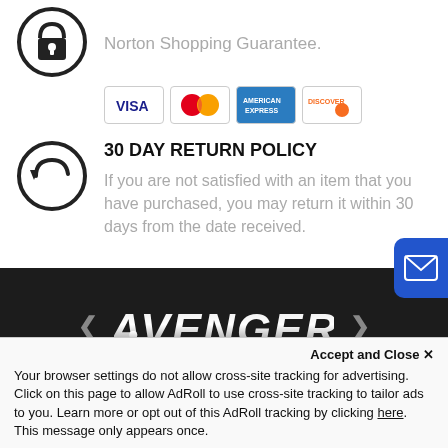[Figure (illustration): Lock icon in a circle (Norton/security icon)]
Norton Shopping Guarantee.
[Figure (illustration): Payment card logos: VISA, MasterCard, American Express, Discover]
[Figure (illustration): Return/undo arrow icon in a circle]
30 DAY RETURN POLICY
If you are not satisfied with an item that you have purchased, you may return it within 30 days from the date received.
[Figure (logo): Avenger stylized metallic logo text with left and right navigation arrows]
Categories
Top Brands
Accept and Close ✕
Your browser settings do not allow cross-site tracking for advertising. Click on this page to allow AdRoll to use cross-site tracking to tailor ads to you. Learn more or opt out of this AdRoll tracking by clicking here. This message only appears once.